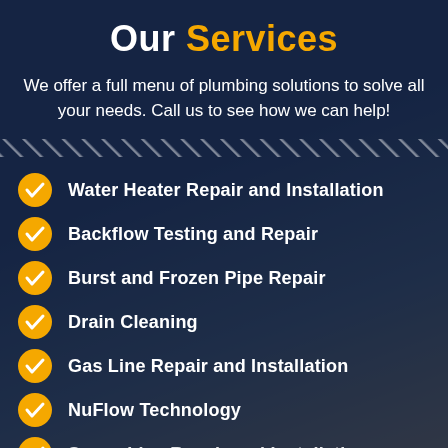Our Services
We offer a full menu of plumbing solutions to solve all your needs. Call us to see how we can help!
Water Heater Repair and Installation
Backflow Testing and Repair
Burst and Frozen Pipe Repair
Drain Cleaning
Gas Line Repair and Installation
NuFlow Technology
Sewer Line Repair and Installation